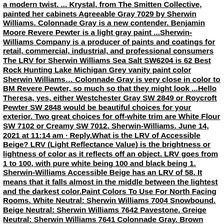a modern twist. ... Krystal, from The Smitten Collective, painted her cabinets Agreeable Gray 7029 by Sherwin Williams. Colonnade Gray is a new contender. Benjamin Moore Revere Pewter is a light gray paint ...Sherwin-Williams Company is a producer of paints and coatings for retail, commercial, industrial, and professional consumers The LRV for Sherwin Williams Sea Salt SW6204 is 62 Best Rock Hunting Lake Michigan Grey vanity paint color Sherwin Williams… Colonnade Gray is very close in color to BM Revere Pewter, so much so that they might look ...Hello Theresa, yes, either Westchester Gray SW 2849 or Roycroft Pewter SW 2848 would be beautiful choices for your exterior. Two great choices for off-white trim are White Flour SW 7102 or Creamy SW 7012. Sherwin-Williams. June 14, 2021 at 11:14 am · Reply.What is the LRV of Accessible Beige? LRV (Light Reflectance Value) is the brightness or lightness of color as it reflects off an object. LRV goes from 1 to 100, with pure white being 100 and black being 1. Sherwin-Williams Accessible Beige has an LRV of 58. It means that it falls almost in the middle between the lightest and the darkest color.Paint Colors To Use For North Facing Rooms. White Neutral: Sherwin Williams 7004 Snowbound. Beige Neutral: Sherwin Williams 7642 Pavestone. Greige Neutral: Sherwin Williams 7641 Colonnade Gray. Brown Accents: Sherwin Williams 7033 Brainstorm Brown. Blue Accents: Sherwin Williams 9051 Amusing Blue. Sherwin Williams 0475 should...